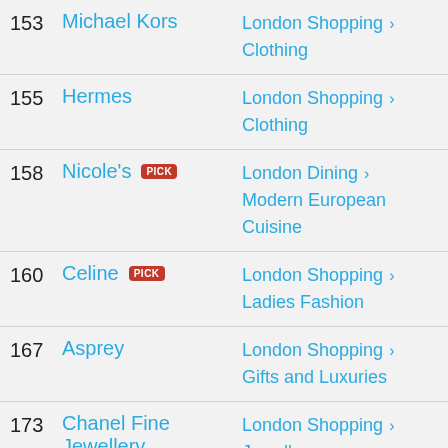153 Michael Kors — London Shopping > Clothing
155 Hermes — London Shopping > Clothing
158 Nicole's PICK — London Dining > Modern European Cuisine
160 Celine PICK — London Shopping > Ladies Fashion
167 Asprey — London Shopping > Gifts and Luxuries
173 Chanel Fine Jewellery PICK — London Shopping > Jewellery
174 Fred — London Shopping > Jewellery